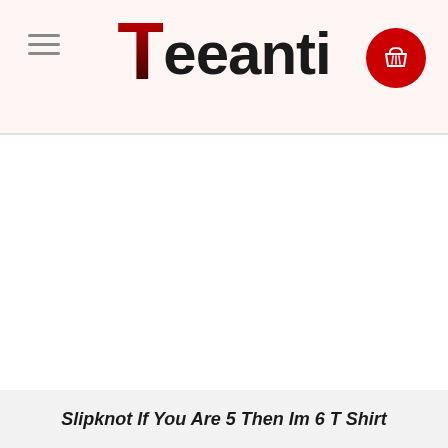[Figure (logo): Teeanti website logo with red stylized T and dark text reading 'eeanti']
[Figure (illustration): Shopping cart icon in white on red circle background]
Slipknot If You Are 5 Then Im 6 T Shirt